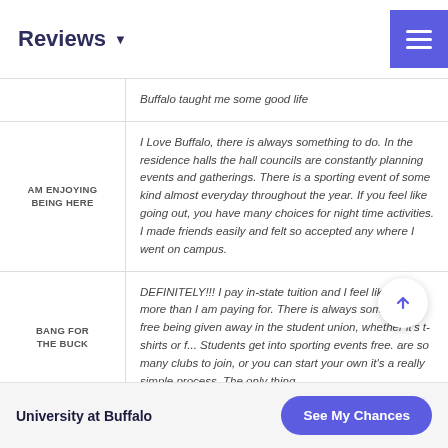Reviews
Buffalo taught me some good life
| Category | Review |
| --- | --- |
| AM ENJOYING BEING HERE | I Love Buffalo, there is always something to do. In the residence halls the hall councils are constantly planning events and gatherings. There is a sporting event of some kind almost everyday throughout the year. If you feel like going out, you have many choices for night time activities. I made friends easily and felt so accepted any where I went on campus. |
| BANG FOR THE BUCK | DEFINITELY!!! I pay in-state tuition and I feel like I get more than I am paying for. There is always something free being given away in the student union, whether it's t-shirts or f... Students get into sporting events free. are so many clubs to join, or you can start your own it's a really simple process. The only thing |
University at Buffalo  See My Chances